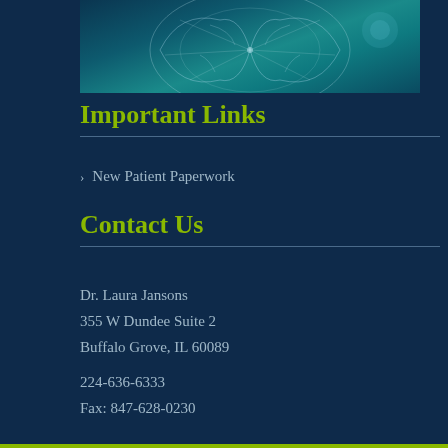[Figure (illustration): Teal-colored brain illustration with neural network lines on a dark blue background]
Important Links
New Patient Paperwork
Contact Us
Dr. Laura Jansons
355 W Dundee Suite 2
Buffalo Grove, IL 60089
224-636-6333
Fax: 847-628-0230